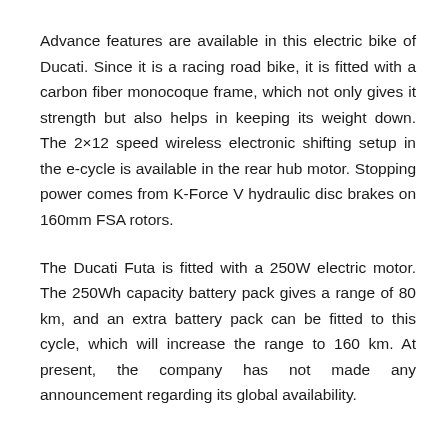Advance features are available in this electric bike of Ducati. Since it is a racing road bike, it is fitted with a carbon fiber monocoque frame, which not only gives it strength but also helps in keeping its weight down. The 2×12 speed wireless electronic shifting setup in the e-cycle is available in the rear hub motor. Stopping power comes from K-Force V hydraulic disc brakes on 160mm FSA rotors.
The Ducati Futa is fitted with a 250W electric motor. The 250Wh capacity battery pack gives a range of 80 km, and an extra battery pack can be fitted to this cycle, which will increase the range to 160 km. At present, the company has not made any announcement regarding its global availability.